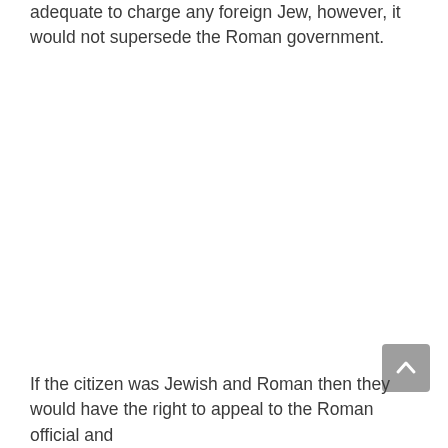adequate to charge any foreign Jew, however, it would not supersede the Roman government.
If the citizen was Jewish and Roman then they would have the right to appeal to the Roman official and